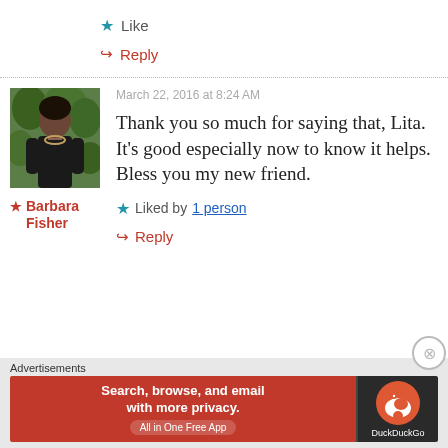★ Like
↪ Reply
[Figure (photo): Profile photo of Barbara Fisher, a woman in a black outfit standing outdoors with greenery in the background]
★ Barbara Fisher
March 22, 2016 at 8:24 AM
Thank you so much for saying that, Lita. It's good especially now to know it helps. Bless you my new friend.
★ Liked by 1 person
↪ Reply
Advertisements
[Figure (infographic): DuckDuckGo advertisement banner: 'Search, browse, and email with more privacy. All in One Free App' on red background with DuckDuckGo logo on dark background]